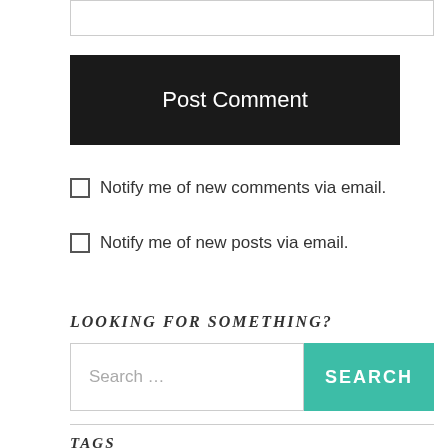[Figure (screenshot): Text input box (comment form field)]
Post Comment
Notify me of new comments via email.
Notify me of new posts via email.
LOOKING FOR SOMETHING?
Search …
TAGS